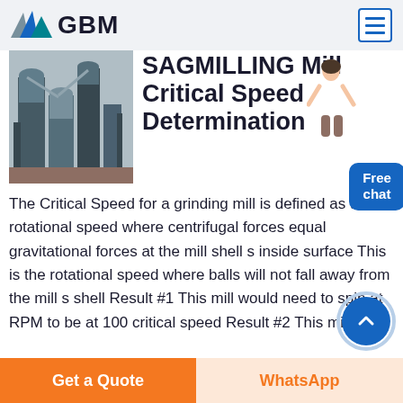GBM
[Figure (photo): Industrial milling facility with large tanks and steel structure]
SAGMILLING Mill Critical Speed Determination
The Critical Speed for a grinding mill is defined as the rotational speed where centrifugal forces equal gravitational forces at the mill shell s inside surface This is the rotational speed where balls will not fall away from the mill s shell Result #1 This mill would need to spin at RPM to be at 100 critical speed Result #2 This mill s